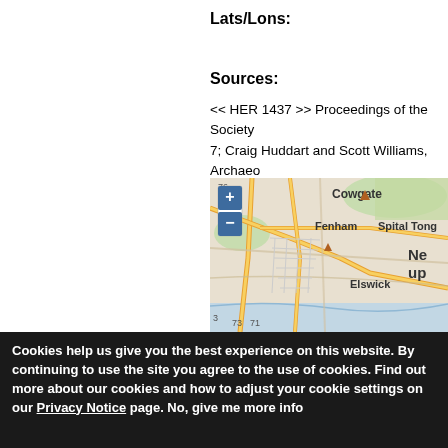Lats/Lons:
Sources:
<< HER 1437 >> Proceedings of the Society 7; Craig Huddart and Scott Williams, Archaeo Watching Brief at Holy Jesus Hospital, Newc
[Figure (map): Street map showing area around Newcastle including Cowgate, Fenham, Spital Tongue, Elswick neighbourhoods, with zoom controls (+/-) in top left corner]
Cookies help us give you the best experience on this website. By continuing to use the site you agree to the use of cookies. Find out more about our cookies and how to adjust your cookie settings on our Privacy Notice page. No, give me more info